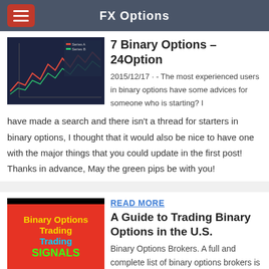FX Options
7 Binary Options – 24Option
2015/12/17 · - The most experienced users in binary options have some advices for someone who is starting? I have made a search and there isn't a thread for starters in binary options, I thought that it would also be nice to have one with the major things that you could update in the first post! Thanks in advance, May the green pips be with you!
READ MORE
A Guide to Trading Binary Options in the U.S.
Binary Options Brokers. A full and complete list of binary options brokers is presented here. If you want to select a company, guiding your